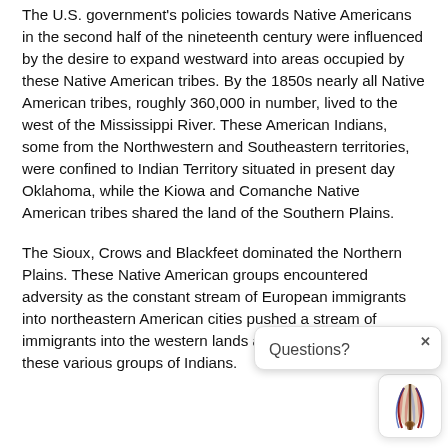The U.S. government's policies towards Native Americans in the second half of the nineteenth century were influenced by the desire to expand westward into areas occupied by these Native American tribes. By the 1850s nearly all Native American tribes, roughly 360,000 in number, lived to the west of the Mississippi River. These American Indians, some from the Northwestern and Southeastern territories, were confined to Indian Territory situated in present day Oklahoma, while the Kiowa and Comanche Native American tribes shared the land of the Southern Plains.
The Sioux, Crows and Blackfeet dominated the Northern Plains. These Native American groups encountered adversity as the constant stream of European immigrants into northeastern American cities pushed a stream of immigrants into the western lands already occupied by these various groups of Indians.